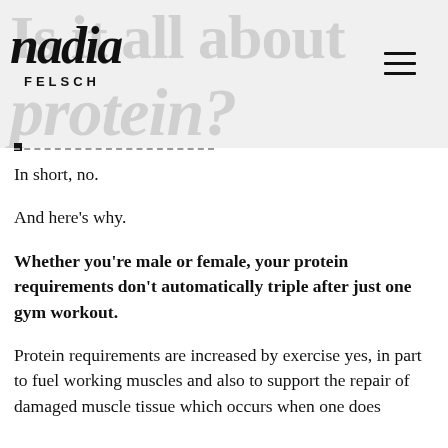nadia FELSCH
Is it all about protein?
In short, no.
And here's why.
Whether you're male or female, your protein requirements don't automatically triple after just one gym workout.
Protein requirements are increased by exercise yes, in part to fuel working muscles and also to support the repair of damaged muscle tissue which occurs when one does